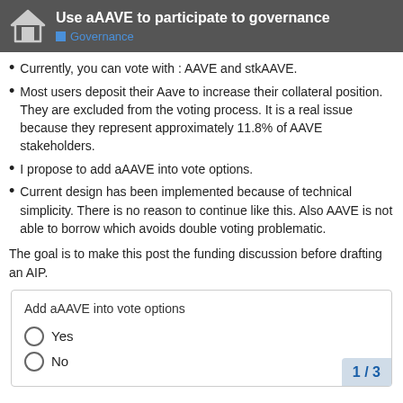Use aAAVE to participate to governance
Governance
Currently, you can vote with : AAVE and stkAAVE.
Most users deposit their Aave to increase their collateral position. They are excluded from the voting process. It is a real issue because they represent approximately 11.8% of AAVE stakeholders.
I propose to add aAAVE into vote options.
Current design has been implemented because of technical simplicity. There is no reason to continue like this. Also AAVE is not able to borrow which avoids double voting problematic.
The goal is to make this post the funding discussion before drafting an AIP.
| Add aAAVE into vote options |
| --- |
| Yes |
| No |
1 / 3